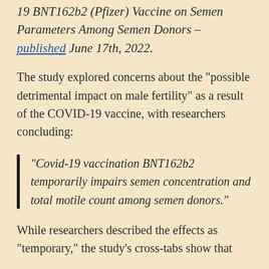19 BNT162b2 (Pfizer) Vaccine on Semen Parameters Among Semen Donors – published June 17th, 2022.
The study explored concerns about the “possible detrimental impact on male fertility” as a result of the COVID-19 vaccine, with researchers concluding:
“Covid-19 vaccination BNT162b2 temporarily impairs semen concentration and total motile count among semen donors.”
While researchers described the effects as “temporary,” the study’s cross-tabs show that